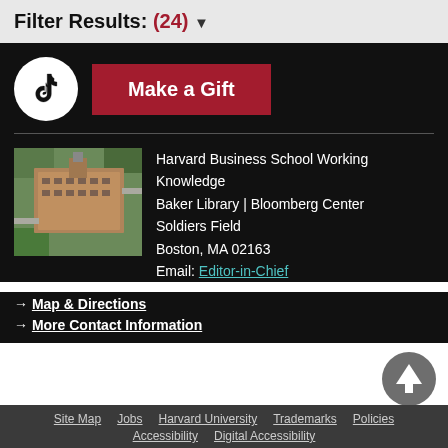Filter Results: (24) ▼
[Figure (logo): TikTok logo circle icon in white]
Make a Gift
[Figure (photo): Aerial view of Harvard Business School Baker Library building]
Harvard Business School Working Knowledge
Baker Library | Bloomberg Center
Soldiers Field
Boston, MA 02163
Email: Editor-in-Chief
→ Map & Directions
→ More Contact Information
[Figure (other): Back to top arrow button circle]
Site Map   Jobs   Harvard University   Trademarks   Policies
Accessibility  Digital Accessibility